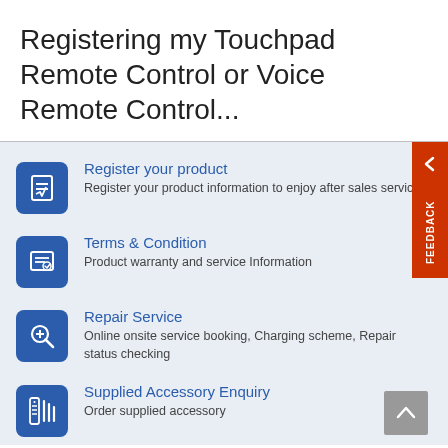Registering my Touchpad Remote Control or Voice Remote Control...
Register your product
Register your product information to enjoy after sales service
Terms & Condition
Product warranty and service Information
Repair Service
Online onsite service booking, Charging scheme, Repair status checking
Supplied Accessory Enquiry
Order supplied accessory